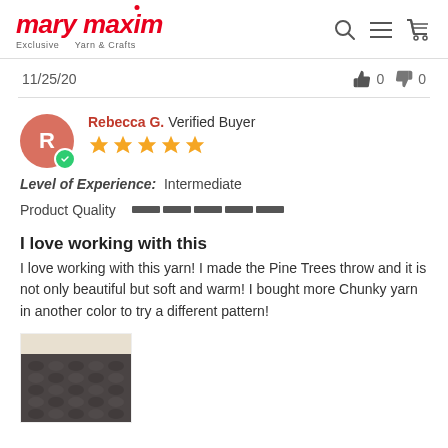mary maxim — Exclusive Yarn & Crafts
11/25/20
👍 0   👎 0
Rebecca G. Verified Buyer — 5 stars
Level of Experience: Intermediate
Product Quality [bar indicator]
I love working with this
I love working with this yarn! I made the Pine Trees throw and it is not only beautiful but soft and warm! I bought more Chunky yarn in another color to try a different pattern!
[Figure (photo): Photo of dark grey chunky knit fabric/throw, close-up texture detail visible]